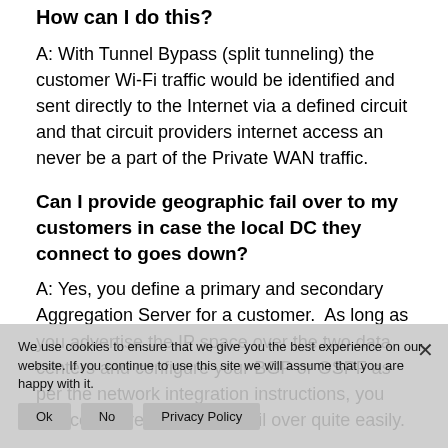How can I do this?
A: With Tunnel Bypass (split tunneling) the customer Wi-Fi traffic would be identified and sent directly to the Internet via a defined circuit and that circuit providers internet access an never be a part of the Private WAN traffic.
Can I provide geographic fail over to my customers in case the local DC they connect to goes down?
A: Yes, you define a primary and secondary Aggregation Server for a customer.  As long as you advertise the IP space over the two data centers and configure your BGP or OSPF as per the network integration instructions, you can configure geographic fail over quite easily.
We use cookies to ensure that we give you the best experience on our website. If you continue to use this site we will assume that you are happy with it.